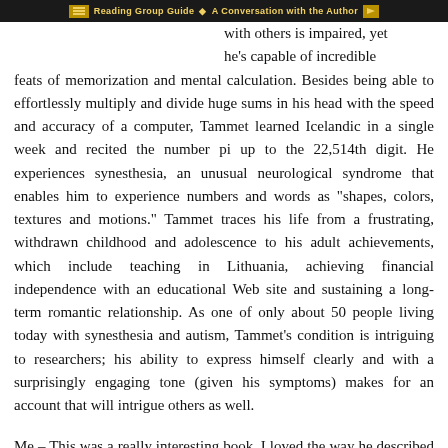Reading Group Guide · A Conversation with the Author
with others is impaired, yet he's capable of incredible feats of memorization and mental calculation. Besides being able to effortlessly multiply and divide huge sums in his head with the speed and accuracy of a computer, Tammet learned Icelandic in a single week and recited the number pi up to the 22,514th digit. He experiences synesthesia, an unusual neurological syndrome that enables him to experience numbers and words as "shapes, colors, textures and motions." Tammet traces his life from a frustrating, withdrawn childhood and adolescence to his adult achievements, which include teaching in Lithuania, achieving financial independence with an educational Web site and sustaining a long-term romantic relationship. As one of only about 50 people living today with synesthesia and autism, Tammet's condition is intriguing to researchers; his ability to express himself clearly and with a surprisingly engaging tone (given his symptoms) makes for an account that will intrigue others as well.
Me – This was a really interesting book. I loved the way he described numbers and days with colors and shapes and